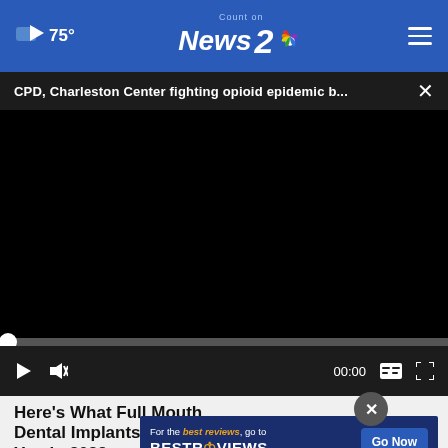75° | Count on News 2 NBC
CPD, Charleston Center fighting opioid epidemic b...
[Figure (screenshot): Black video player area showing a paused news video about CPD and Charleston Center fighting the opioid epidemic. Progress bar at bottom left shows 00:00 timestamp. Controls include play, mute, captions, and fullscreen buttons.]
Here's What Full Mouth Dental Implants Should Cost You in 2022
Dental
For the best reviews, go to BESTREVIEWS  Go Now